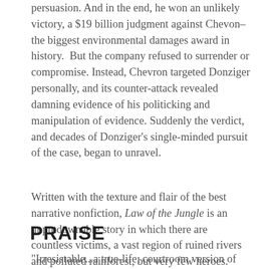persuasion. And in the end, he won an unlikely victory, a $19 billion judgment against Chevon–the biggest environmental damages award in history.  But the company refused to surrender or compromise. Instead, Chevron targeted Donziger personally, and its counter-attack revealed damning evidence of his politicking and manipulation of evidence. Suddenly the verdict, and decades of Donziger's single-minded pursuit of the case, began to unravel.
Written with the texture and flair of the best narrative nonfiction, Law of the Jungle is an unputdownable story in which there are countless victims, a vast region of ruined rivers and polluted rainforest, but very few heroes.
PRAISE
"Irresistable...a true-life, courtroom version of Heart of Darkness"